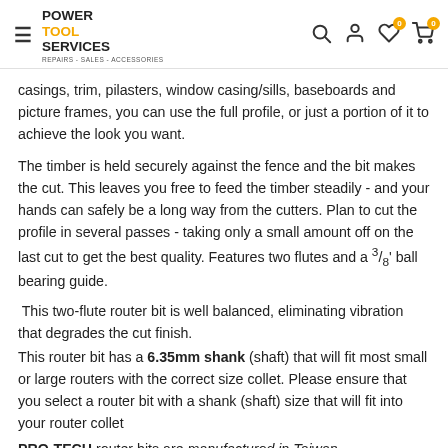Power Tool Services — REPAIRS - SALES - ACCESSORIES
casings, trim, pilasters, window casing/sills, baseboards and picture frames, you can use the full profile, or just a portion of it to achieve the look you want.
The timber is held securely against the fence and the bit makes the cut. This leaves you free to feed the timber steadily - and your hands can safely be a long way from the cutters. Plan to cut the profile in several passes - taking only a small amount off on the last cut to get the best quality. Features two flutes and a 3/8" ball bearing guide.
This two-flute router bit is well balanced, eliminating vibration that degrades the cut finish.
This router bit has a 6.35mm shank (shaft) that will fit most small or large routers with the correct size collet. Please ensure that you select a router bit with a shank (shaft) size that will fit into your router collet
PRO-TECH router bits are manufactured in Taiwan.